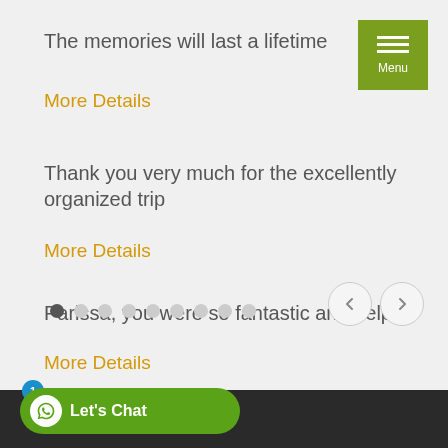The memories will last a lifetime
More Details
Thank you very much for the excellently organized trip
More Details
Parissa, you were so fantastic and helpful
More Details
[Figure (other): Carousel pagination dots (9 dots, first active) and left/right navigation arrows]
[Figure (other): Menu button (hamburger icon with three horizontal bars and 'Menu' label) on olive/green background]
[Figure (other): WhatsApp chat button with badge '1', green pill-shaped button with chat icon and 'Let's Chat' label on dark footer bar]